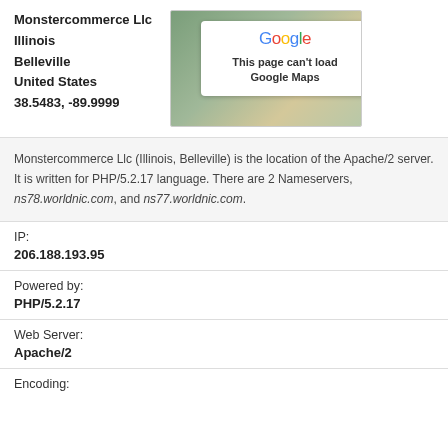Monstercommerce Llc
Illinois
Belleville
United States
38.5483, -89.9999
[Figure (screenshot): Google Maps error box showing 'This page can't load Google Maps' on a map background]
Monstercommerce Llc (Illinois, Belleville) is the location of the Apache/2 server. It is written for PHP/5.2.17 language. There are 2 Nameservers, ns78.worldnic.com, and ns77.worldnic.com.
IP:
206.188.193.95
Powered by:
PHP/5.2.17
Web Server:
Apache/2
Encoding: